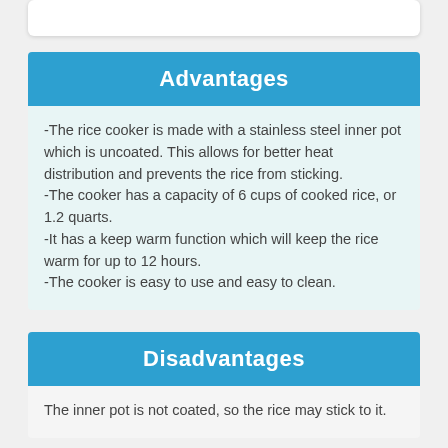Advantages
-The rice cooker is made with a stainless steel inner pot which is uncoated. This allows for better heat distribution and prevents the rice from sticking.
-The cooker has a capacity of 6 cups of cooked rice, or 1.2 quarts.
-It has a keep warm function which will keep the rice warm for up to 12 hours.
-The cooker is easy to use and easy to clean.
Disadvantages
The inner pot is not coated, so the rice may stick to it.